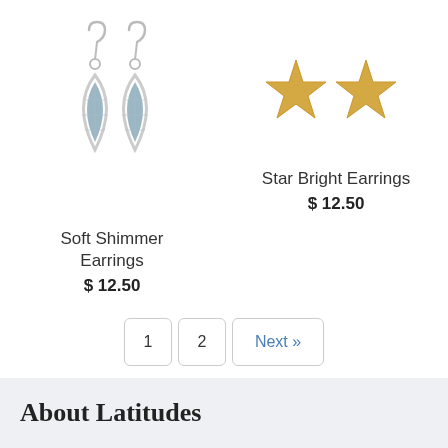[Figure (photo): Silver drop earrings with oval leaf-shaped frames containing blue-grey gemstones, shown as a pair with fish hook closures]
Soft Shimmer Earrings
$ 12.50
[Figure (photo): Gold star stud earrings, shown as a pair of small flat gold star shapes]
Star Bright Earrings
$ 12.50
1  2  Next »
About Latitudes